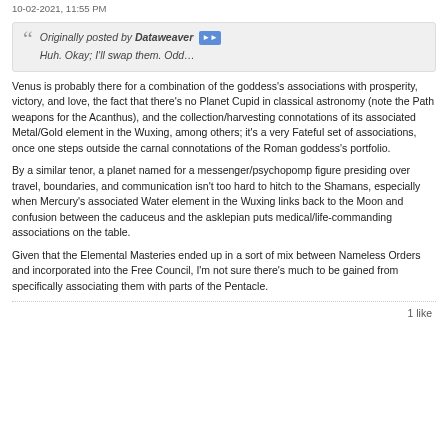10-02-2021, 11:55 PM
Originally posted by Dataweaver ▶▶
Huh. Okay; I'll swap them. Odd…
Venus is probably there for a combination of the goddess's associations with prosperity, victory, and love, the fact that there's no Planet Cupid in classical astronomy (note the Path weapons for the Acanthus), and the collection/harvesting connotations of its associated Metal/Gold element in the Wuxing, among others; it's a very Fateful set of associations, once one steps outside the carnal connotations of the Roman goddess's portfolio.
By a similar tenor, a planet named for a messenger/psychopomp figure presiding over travel, boundaries, and communication isn't too hard to hitch to the Shamans, especially when Mercury's associated Water element in the Wuxing links back to the Moon and confusion between the caduceus and the asklepian puts medical/life-commanding associations on the table.
Given that the Elemental Masteries ended up in a sort of mix between Nameless Orders and incorporated into the Free Council, I'm not sure there’s much to be gained from specifically associating them with parts of the Pentacle.
1 like